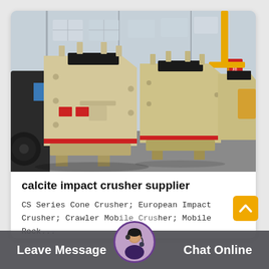[Figure (photo): Industrial impact crusher machines (beige/cream colored, heavy machinery) lined up inside a factory warehouse. Multiple large crusher units are visible on the factory floor with a steel-frame building structure and yellow crane visible in background.]
calcite impact crusher supplier
CS Series Cone Crusher; European Impact Crusher; Crawler Mobile Crusher; Mobile Rock...
Leave Message
Chat Online